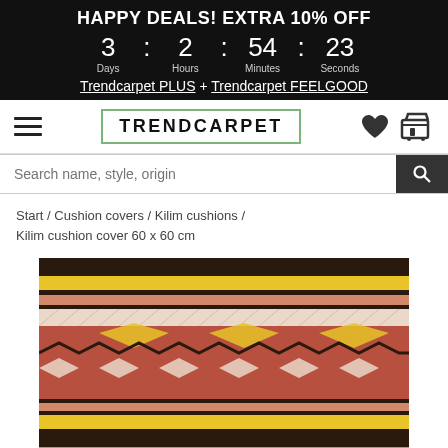HAPPY DEALS! EXTRA 10% OFF
3 : 2 : 54 : 23
Days  Hours  Minutes  Seconds
Trendcarpet PLUS + Trendcarpet FEELGOOD
[Figure (logo): Trendcarpet logo with green border box, hamburger menu icon, heart icon, and shopping cart icon on white navigation bar]
Search name, style, origin
Start / Cushion covers / Kilim cushions /
Kilim cushion cover 60 x 60 cm
[Figure (photo): Kilim cushion cover with colorful geometric chevron and stripe patterns in red, yellow, black, brown, and cream tones]